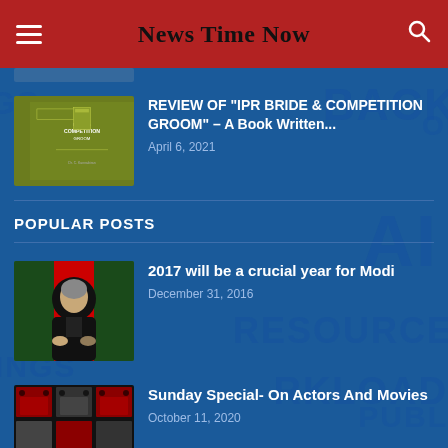News Time Now
REVIEW OF "IPR BRIDE & COMPETITION GROOM" – A Book Written... | April 6, 2021
POPULAR POSTS
2017 will be a crucial year for Modi | December 31, 2016
Sunday Special- On Actors And Movies | October 11, 2020